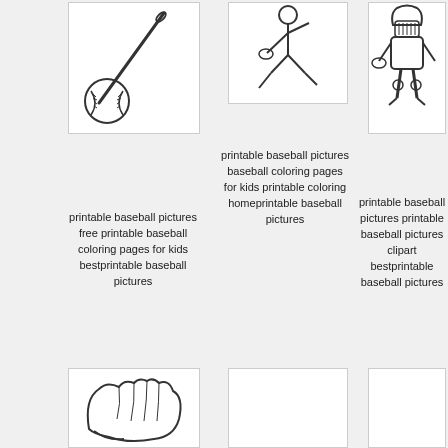[Figure (illustration): Line drawing of a baseball bat and baseball]
[Figure (illustration): Line drawing of a baseball player in crouching/fielding position]
[Figure (illustration): Line drawing of a baseball catcher in full gear]
printable baseball pictures free printable baseball coloring pages for kids bestprintable baseball pictures
printable baseball pictures baseball coloring pages for kids printable coloring homeprintable baseball pictures
printable baseball pictures printable baseball pictures clipart bestprintable baseball pictures
[Figure (illustration): Line drawing of a baseball glove/mitt]
[Figure (illustration): Blank or partial baseball illustration]
[Figure (illustration): Blank or partial baseball illustration]